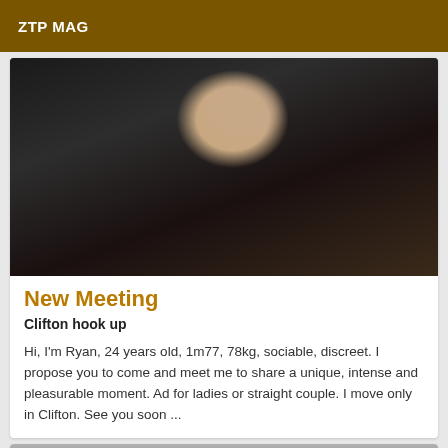ZTP MAG
[Figure (photo): Man in dark jacket with patterned collar, face pixelated/blurred, indoors]
New Meeting
Clifton hook up
Hi, I'm Ryan, 24 years old, 1m77, 78kg, sociable, discreet. I propose you to come and meet me to share a unique, intense and pleasurable moment. Ad for ladies or straight couple. I move only in Clifton. See you soon ...
[Figure (photo): Partially visible second card image at bottom of page]